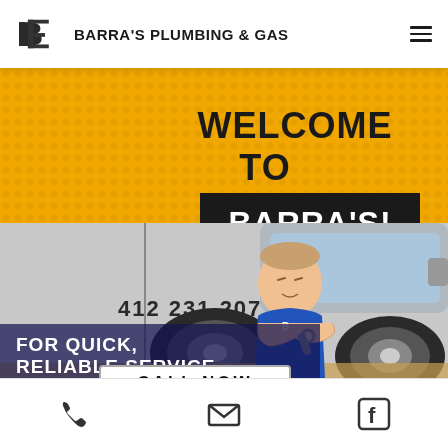BARRA'S PLUMBING & GAS
[Figure (illustration): Cartoon illustration of a plumber standing in front of a white van. The hero banner shows 'WELCOME TO BARRA'S!' text against a yellow halftone background. The van displays the phone number '412 231 207'. Text at the bottom reads 'FOR QUICK, RELIABLE SERVICE' and 'CALL NOW'.]
Phone, Email, Facebook icons